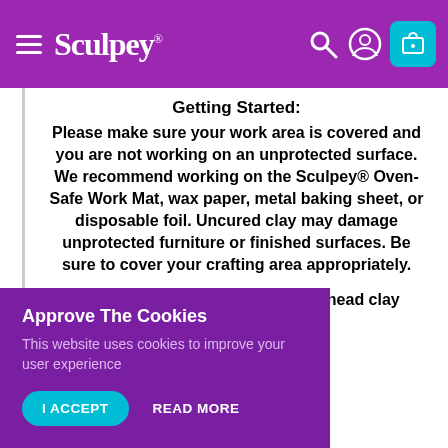Sculpey® — navigation header with hamburger menu, search, user, and cart icons
Getting Started:
Please make sure your work area is covered and you are not working on an unprotected surface. We recommend working on the Sculpey® Oven-Safe Work Mat, wax paper, metal baking sheet, or disposable foil. Uncured clay may damage unprotected furniture or finished surfaces. Be sure to cover your crafting area appropriately.
Start with clean hands, unwrap and knead clay until [partially obscured by cookie banner] ...ning clay ...nd using a ...only. When ...s with soap ...d that baby ...rs. Shape
Approve The Cookies
This website uses cookies to improve your user experience
I ACCEPT   READ MORE